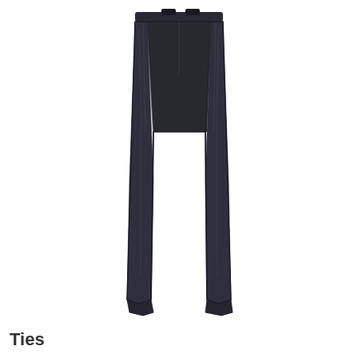[Figure (photo): A pair of dark charcoal/navy pleated dress trousers with a belt tab waistband and cuffed hems, photographed on a white background.]
Ties